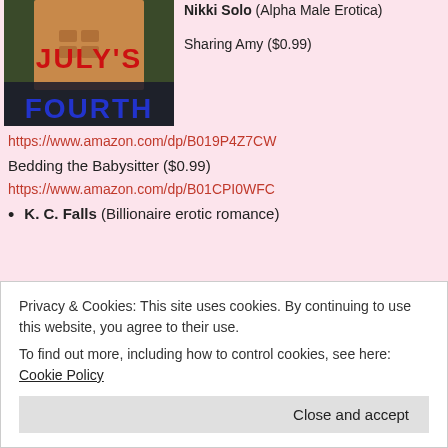[Figure (photo): Book cover for 'July's Fourth' showing a shirtless muscular man with text 'JULY'S' in red and 'FOURTH' in blue]
Nikki Solo (Alpha Male Erotica)
Sharing Amy ($0.99)
https://www.amazon.com/dp/B019P4Z7CW
Bedding the Babysitter ($0.99)
https://www.amazon.com/dp/B01CPI0WFC
K. C. Falls (Billionaire erotic romance)
Privacy & Cookies: This site uses cookies. By continuing to use this website, you agree to their use.
To find out more, including how to control cookies, see here: Cookie Policy
Close and accept